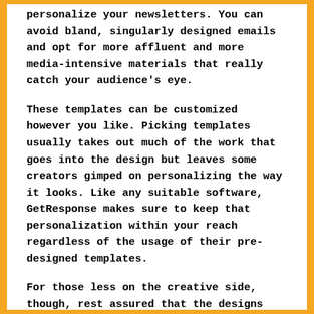personalize your newsletters. You can avoid bland, singularly designed emails and opt for more affluent and more media-intensive materials that really catch your audience's eye.
These templates can be customized however you like. Picking templates usually takes out much of the work that goes into the design but leaves some creators gimped on personalizing the way it looks. Like any suitable software, GetResponse makes sure to keep that personalization within your reach regardless of the usage of their pre-designed templates.
For those less on the creative side, though, rest assured that the designs found on GetResponse's library of templates are varied and crafted to such a high quality that people will be hard-pressed to find fault in it. These templates are also thematically categorized, so you can